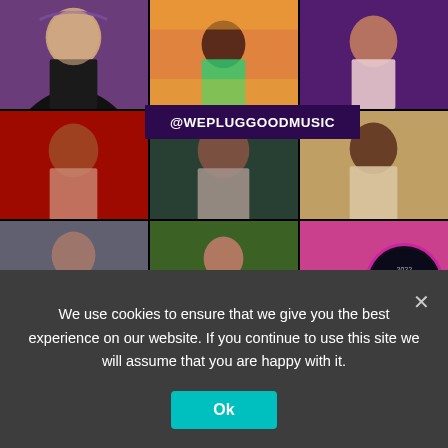[Figure (photo): 3x3 grid of photos of music artists and influencers with '@WEPLUGGOODMUSIC' overlay banner in center, and a Mercury Prize 2022 badge in the bottom-right cell]
@WEPLUGGOODMUSIC
We use cookies to ensure that we give you the best experience on our website. If you continue to use this site we will assume that you are happy with it.
Ok